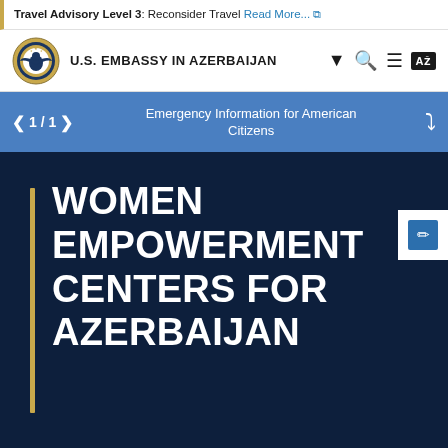Travel Advisory Level 3: Reconsider Travel Read More...
[Figure (logo): U.S. Embassy seal / Great Seal of the United States]
U.S. EMBASSY IN AZERBAIJAN
1 / 1   Emergency Information for American Citizens
WOMEN EMPOWERMENT CENTERS FOR AZERBAIJAN